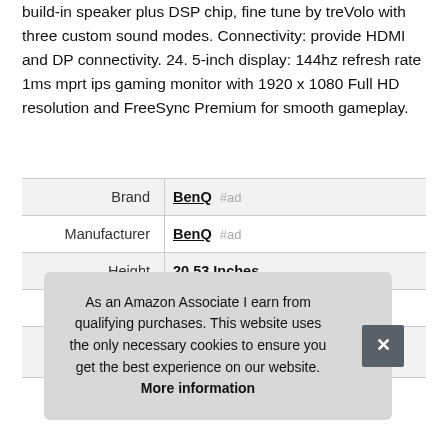build-in speaker plus DSP chip, fine tune by treVolo with three custom sound modes. Connectivity: provide HDMI and DP connectivity. 24. 5-inch display: 144hz refresh rate 1ms mprt ips gaming monitor with 1920 x 1080 Full HD resolution and FreeSync Premium for smooth gameplay.
|  |  |
| --- | --- |
| Brand | BenQ #ad |
| Manufacturer | BenQ #ad |
| Height | 20.53 Inches |
| Length | 21.95 Inches |
As an Amazon Associate I earn from qualifying purchases. This website uses the only necessary cookies to ensure you get the best experience on our website. More information